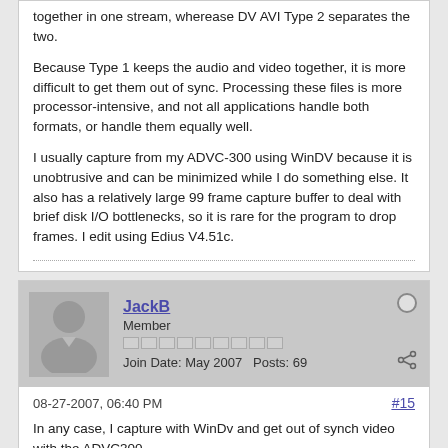together in one stream, wherease DV AVI Type 2 separates the two.
Because Type 1 keeps the audio and video together, it is more difficult to get them out of sync. Processing these files is more processor-intensive, and not all applications handle both formats, or handle them equally well.
I usually capture from my ADVC-300 using WinDV because it is unobtrusive and can be minimized while I do something else. It also has a relatively large 99 frame capture buffer to deal with brief disk I/O bottlenecks, so it is rare for the program to drop frames. I edit using Edius V4.51c.
JackB
Member
Join Date: May 2007   Posts: 69
08-27-2007, 06:40 PM
#15
In any case, I capture with WinDv and get out of synch video with the ADVC300.